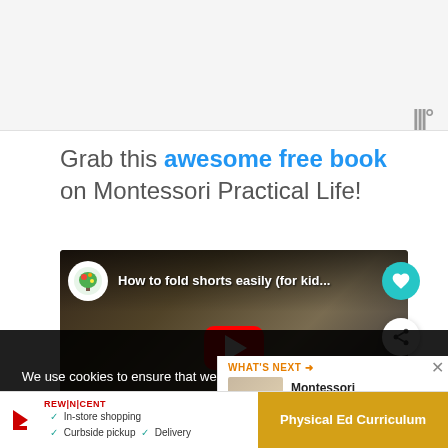[Figure (screenshot): Top gray banner area of a website]
Grab this awesome free book on Montessori Practical Life!
[Figure (screenshot): YouTube video thumbnail: How to fold shorts easily (for kid...) with red play button]
We use cookies to ensure that we give you the best experience on our website. If you continue to use this site we will assume that you are happy with it.
WHAT'S NEXT → Montessori Practical Lif...
[Figure (screenshot): Bottom ad bar with In-store shopping, Curbside pickup, Delivery checkmarks and Physical Ed Curriculum button]